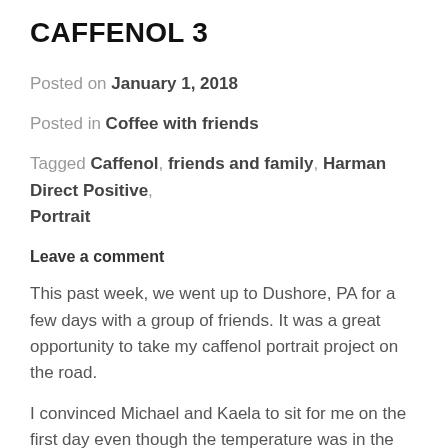CAFFENOL 3
Posted on January 1, 2018
Posted in Coffee with friends
Tagged Caffenol, friends and family, Harman Direct Positive, Portrait
Leave a comment
This past week, we went up to Dushore, PA for a few days with a group of friends. It was a great opportunity to take my caffenol portrait project on the road.
I convinced Michael and Kaela to sit for me on the first day even though the temperature was in the teens and I was going to shoot outside to take advantage of the low winter sun.